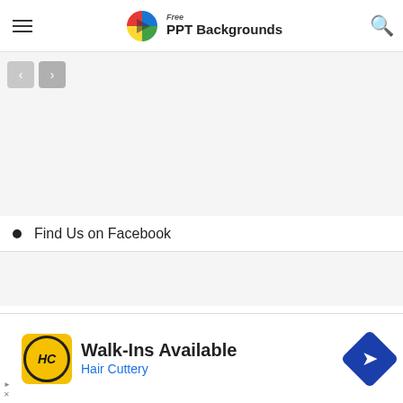Free PPT Backgrounds
[Figure (screenshot): Pagination back/forward arrow buttons]
Find Us on Facebook
Google Slide Templates
[Figure (screenshot): Teal/turquoise banner with chevron dropdown toggle button]
[Figure (screenshot): Advertisement banner: Walk-Ins Available - Hair Cuttery, with HC logo and blue diamond arrow icon]